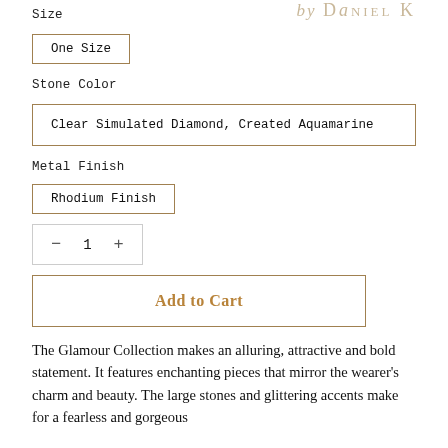Size
One Size
by DANIEL K
Stone Color
Clear Simulated Diamond, Created Aquamarine
Metal Finish
Rhodium Finish
- 1 +
Add to Cart
The Glamour Collection makes an alluring, attractive and bold statement. It features enchanting pieces that mirror the wearer’s charm and beauty. The large stones and glittering accents make for a fearless and gorgeous